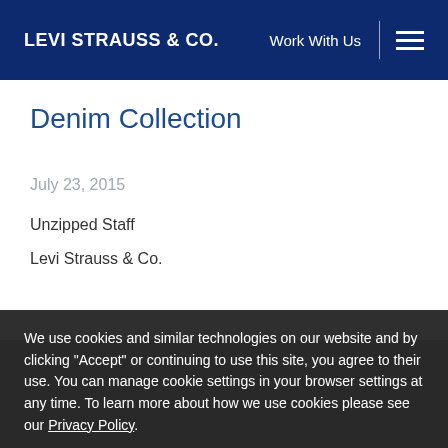LEVI STRAUSS & CO. | Work With Us
Denim Collection
July 23, 2015
Unzipped Staff
Levi Strauss & Co.
The new Levi's® women's denim collection offers soft,
We use cookies and similar technologies on our website and by clicking "Accept" or continuing to use this site, you agree to their use. You can manage cookie settings in your browser settings at any time. To learn more about how we use cookies please see our Privacy Policy.
Reporter Tim Higg… Businessweek went inside our Eureka… out. His cover story, published online today and available on